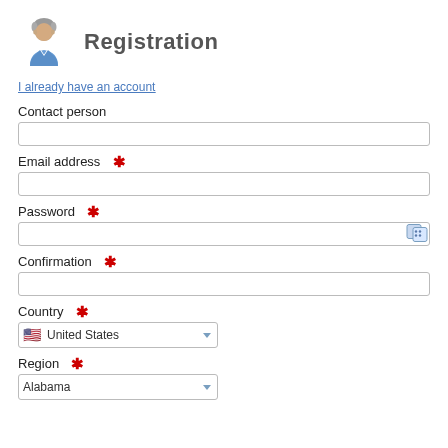[Figure (illustration): User avatar icon: a generic person silhouette with a blue shirt, gray hair]
Registration
I already have an account
Contact person
Email address *
Password *
Confirmation *
Country *
Region *